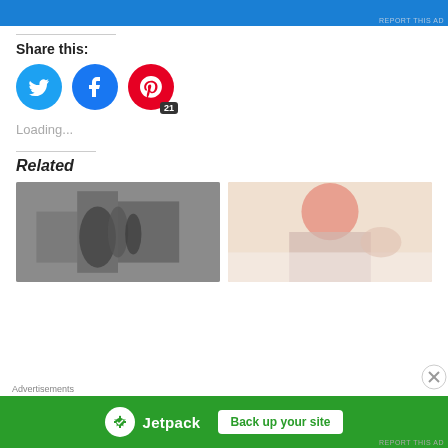[Figure (screenshot): Top portion of a blue advertisement banner, partially visible at top of page with 'REPORT THIS AD' text]
REPORT THIS AD
Share this:
[Figure (infographic): Three social media share buttons: Twitter (blue bird), Facebook (blue f), Pinterest (red P with badge showing 21)]
Loading...
Related
[Figure (photo): Black and white photo of hands holding or playing an instrument, left related article image]
[Figure (photo): Color photo of a child with reddish hair reaching forward, right related article image]
Advertisements
[Figure (screenshot): Jetpack advertisement banner: green background with Jetpack logo and 'Back up your site' button]
REPORT THIS AD